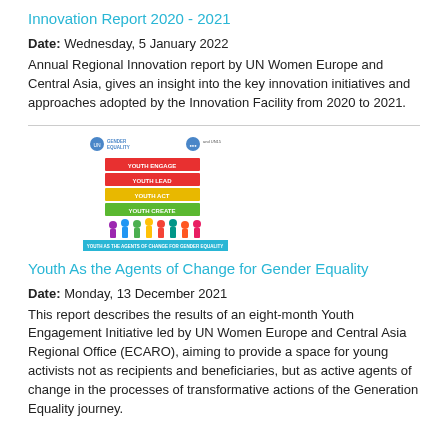Innovation Report 2020 - 2021
Date: Wednesday, 5 January 2022
Annual Regional Innovation report by UN Women Europe and Central Asia, gives an insight into the key innovation initiatives and approaches adopted by the Innovation Facility from 2020 to 2021.
[Figure (illustration): Cover image of the Youth As the Agents of Change for Gender Equality report, showing colorful youth figures and stacked colored labels.]
Youth As the Agents of Change for Gender Equality
Date: Monday, 13 December 2021
This report describes the results of an eight-month Youth Engagement Initiative led by UN Women Europe and Central Asia Regional Office (ECARO), aiming to provide a space for young activists not as recipients and beneficiaries, but as active agents of change in the processes of transformative actions of the Generation Equality journey.